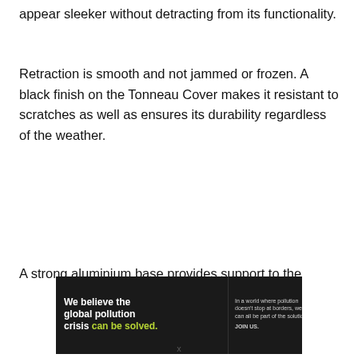appear sleeker without detracting from its functionality.
Retraction is smooth and not jammed or frozen. A black finish on the Tonneau Cover makes it resistant to scratches as well as ensures its durability regardless of the weather.
A strong aluminium base provides support to the
[Figure (infographic): Pure Earth advertisement banner: dark background with text 'We believe the global pollution crisis can be solved.' with 'can be solved.' in green. Right side shows 'In a world where pollution doesn't stop at borders, we can all be part of the solution.' and 'JOIN US.' in orange. Logo shows Pure Earth diamond/layered icon and PURE EARTH text in white.]
x